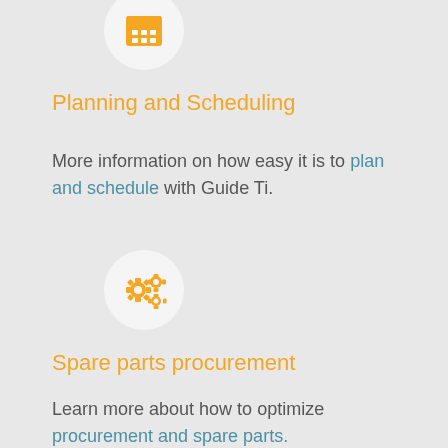[Figure (illustration): Orange calendar/grid icon inside a white circle, partially visible at top of page]
Planning and Scheduling
More information on how easy it is to plan and schedule with Guide Ti.
[Figure (illustration): Orange gears/settings icon inside a white circle]
Spare parts procurement
Learn more about how to optimize procurement and spare parts.